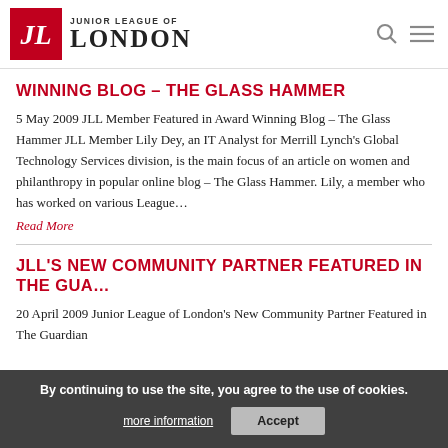Junior League of London
WINNING BLOG – THE GLASS HAMMER
5 May 2009 JLL Member Featured in Award Winning Blog – The Glass Hammer JLL Member Lily Dey, an IT Analyst for Merrill Lynch's Global Technology Services division, is the main focus of an article on women and philanthropy in popular online blog – The Glass Hammer. Lily, a member who has worked on various League…
Read More
JLL'S NEW COMMUNITY PARTNER FEATURED IN THE GUA…
20 April 2009 Junior League of London's New Community Partner Featured in The Guardian
By continuing to use the site, you agree to the use of cookies. more information  Accept